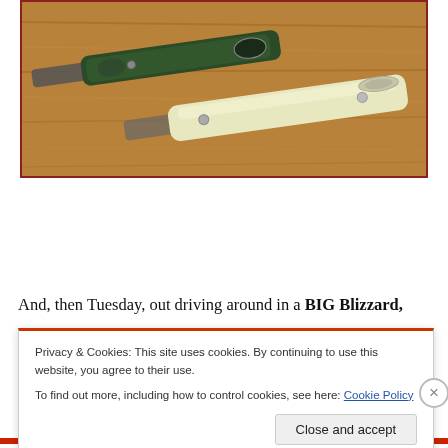[Figure (photo): Two folding pocket knives lying on a wooden surface. One knife has a dark green patterned handle, the other has a cream/pale yellow handle. Both are closed.]
And, then Tuesday, out driving around in a BIG Blizzard,
Privacy & Cookies: This site uses cookies. By continuing to use this website, you agree to their use.
To find out more, including how to control cookies, see here: Cookie Policy
Close and accept